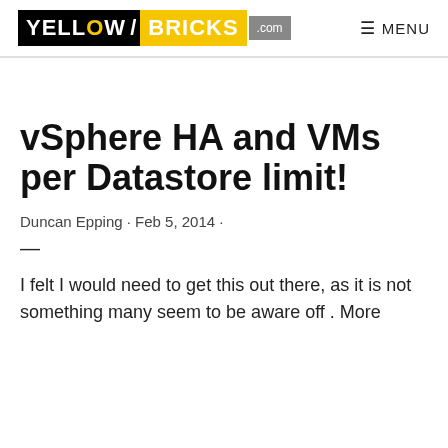YELLOW/BRICKS .com   MENU
vSphere HA and VMs per Datastore limit!
Duncan Epping · Feb 5, 2014 ·
—
I felt I would need to get this out there, as it is not something many seem to be aware off . More